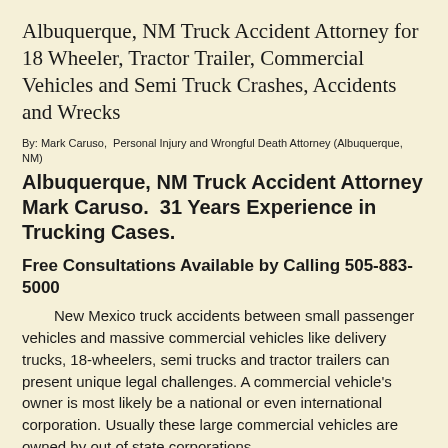Albuquerque, NM Truck Accident Attorney for 18 Wheeler, Tractor Trailer, Commercial Vehicles and Semi Truck Crashes, Accidents and Wrecks
By: Mark Caruso,  Personal Injury and Wrongful Death Attorney (Albuquerque, NM)
Albuquerque, NM Truck Accident Attorney Mark Caruso.  31 Years Experience in Trucking Cases.
Free Consultations Available by Calling 505-883-5000
New Mexico truck accidents between small passenger vehicles and massive commercial vehicles like delivery trucks, 18-wheelers, semi trucks and tractor trailers can present unique legal challenges. A commercial vehicle's owner is most likely be a national or even international corporation. Usually these large commercial vehicles are owned by out of state corporations.
Damages and injuries experienced by a car or light-truck driver are typically severe. Oftentimes, the result is death or severe and crippling injuries. With large amounts of money